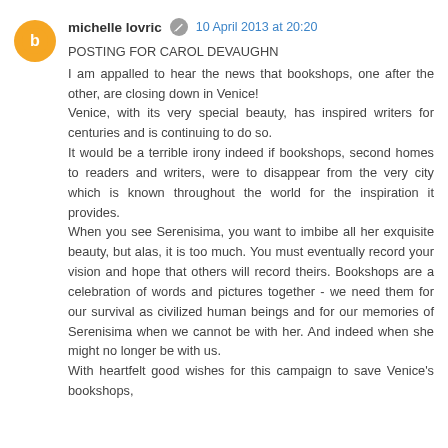michelle lovric · 10 April 2013 at 20:20
POSTING FOR CAROL DEVAUGHN
I am appalled to hear the news that bookshops, one after the other, are closing down in Venice!
Venice, with its very special beauty, has inspired writers for centuries and is continuing to do so.
It would be a terrible irony indeed if bookshops, second homes to readers and writers, were to disappear from the very city which is known throughout the world for the inspiration it provides.
When you see Serenisima, you want to imbibe all her exquisite beauty, but alas, it is too much. You must eventually record your vision and hope that others will record theirs. Bookshops are a celebration of words and pictures together - we need them for our survival as civilized human beings and for our memories of Serenisima when we cannot be with her. And indeed when she might no longer be with us.

With heartfelt good wishes for this campaign to save Venice's bookshops,